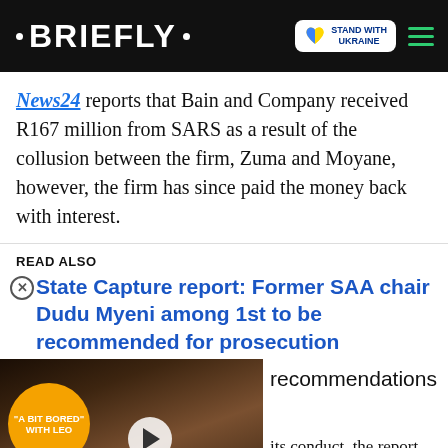• BRIEFLY •
News24 reports that Bain and Company received R167 million from SARS as a result of the collusion between the firm, Zuma and Moyane, however, the firm has since paid the money back with interest.
READ ALSO
State Capture report: Former SAA chair Dudu Myeni among 1st to be recommended for prosecution
[Figure (screenshot): Video player overlay with orange bubble showing 'A BIT BORED WITH LEO' text, a play button, and a red chevron-down dismiss button]
recommendations
its conduct, the report has
Help Protect Ukrainian Families DONATE NOW